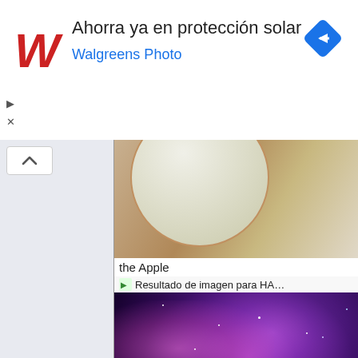[Figure (screenshot): Walgreens advertisement banner with red cursive W logo, text 'Ahorra ya en protección solar' and 'Walgreens Photo' in blue, blue diamond navigation icon on right]
[Figure (photo): Partial view of a white/green apple on wooden surface, cropped]
the Apple
Resultado de imagen para HA…
[Figure (photo): Galaxy/nebula image with purple, magenta, and dark blue colors with stars]